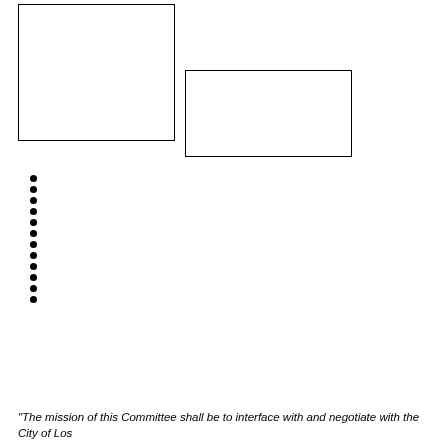[Figure (other): Empty rectangle box placeholder (top left)]
[Figure (other): Empty rectangle box placeholder (top right)]
"The mission of this Committee shall be to interface with and negotiate with the City of Los